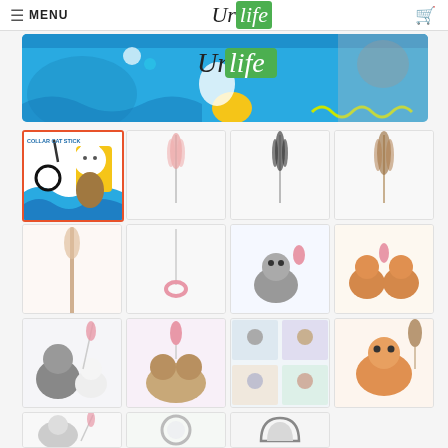≡ MENU   UrLife [logo]   🛒
[Figure (photo): Website banner with blue background, colorful blobs, UrLife logo, and cat photo]
[Figure (photo): Featured product image: COLLAR CAT STICK - collar and cat illustration on blue/yellow background]
[Figure (photo): Cat feather wand toy with pink feather, white background]
[Figure (photo): Cat feather wand toy with dark feather, white background]
[Figure (photo): Cat feather wand toy with brown feather, white background]
[Figure (photo): Cat wand stick toy, beige/pink color]
[Figure (photo): Cat feather toy with pink fluffy feather]
[Figure (photo): Small cat playing with pink ring toy]
[Figure (photo): Two orange/white kittens playing]
[Figure (photo): Gray cat with white kitten]
[Figure (photo): Cats playing with pink wand toy]
[Figure (photo): Collage of cats in various scenes]
[Figure (photo): Orange cat lying on its back playing]
[Figure (photo): Small white cat playing with wand]
[Figure (photo): Round mirror/accessory product photo]
[Figure (photo): Cat ear shaped accessory product photo]